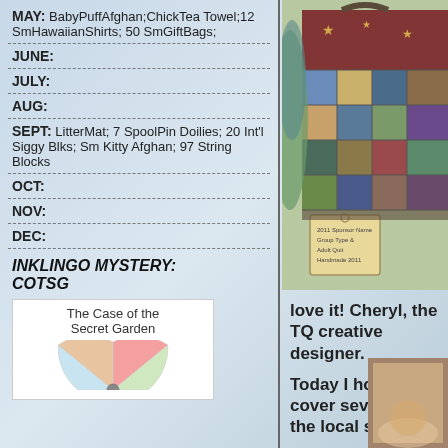MAY: BabyPuffAfghan;ChickTea Towel;12 SmHawaiianShirts; 50 SmGiftBags;
JUNE:
JULY:
AUG:
SEPT: LitterMat; 7 SpoolPin Doilies; 20 Int'l Siggy Blks; Sm Kitty Afghan; 97 String Blocks
OCT:
NOV:
DEC:
INKLINGO MYSTERY: COTSG
[Figure (photo): Photo of a quilted patchwork bag with a price tag attached, displayed against a background of colorful fabrics]
love it! Cheryl, the TQ creative designer.
Today I hope to cover several of the local shops.
[Figure (photo): Book cover or small image in bottom right showing 'The Case of the Secret Garden' with a wheel/fan design]
The Case of the Secret Garden